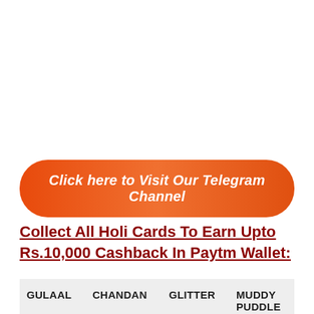[Figure (other): Orange gradient rounded button with italic bold white text: 'Click here to Visit Our Telegram Channel']
Collect All Holi Cards To Earn Upto Rs.10,000 Cashback In Paytm Wallet:
| GULAAL | CHANDAN | GLITTER | MUDDY PUDDLE |
| --- | --- | --- | --- |